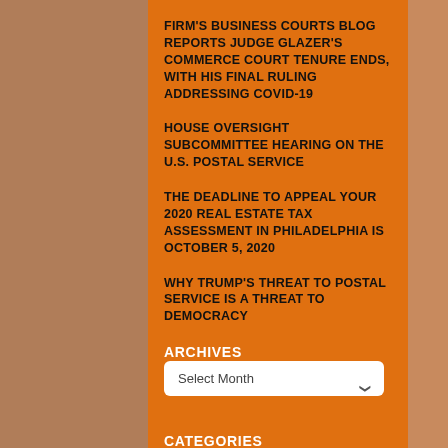FIRM'S BUSINESS COURTS BLOG REPORTS JUDGE GLAZER'S COMMERCE COURT TENURE ENDS, WITH HIS FINAL RULING ADDRESSING COVID-19
HOUSE OVERSIGHT SUBCOMMITTEE HEARING ON THE U.S. POSTAL SERVICE
THE DEADLINE TO APPEAL YOUR 2020 REAL ESTATE TAX ASSESSMENT IN PHILADELPHIA IS OCTOBER 5, 2020
WHY TRUMP'S THREAT TO POSTAL SERVICE IS A THREAT TO DEMOCRACY
ARCHIVES
Select Month
CATEGORIES
Select Category